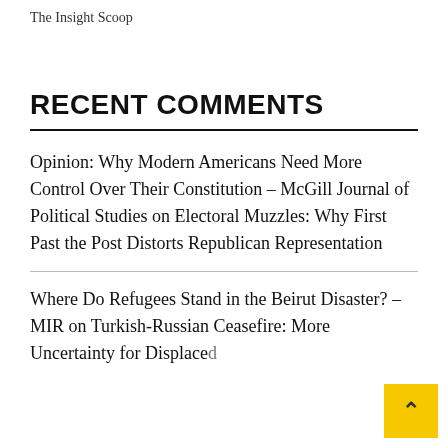The Insight Scoop
RECENT COMMENTS
Opinion: Why Modern Americans Need More Control Over Their Constitution – McGill Journal of Political Studies on Electoral Muzzles: Why First Past the Post Distorts Republican Representation
Where Do Refugees Stand in the Beirut Disaster? – MIR on Turkish-Russian Ceasefire: More Uncertainty for Displaced